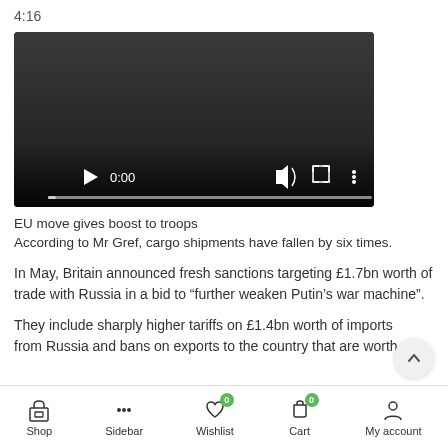4:16
[Figure (screenshot): Embedded video player with dark background showing 0:00 timestamp, play button, volume icon, fullscreen icon, and more options icon with a progress bar at the bottom]
EU move gives boost to troops
According to Mr Gref, cargo shipments have fallen by six times.
In May, Britain announced fresh sanctions targeting £1.7bn worth of trade with Russia in a bid to “further weaken Putin’s war machine”.
They include sharply higher tariffs on £1.4bn worth of imports from Russia and bans on exports to the country that are worth
Shop  Sidebar  Wishlist  Cart  My account